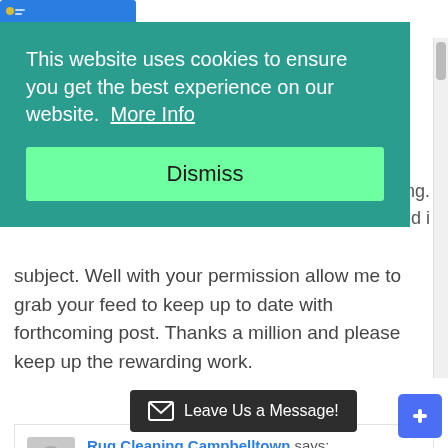[Figure (screenshot): Website screenshot showing a cookie consent banner overlay on a blog page. The teal cookie banner reads 'This website uses cookies to ensure you get the best experience on our website. More Info' with a green 'Dismiss' button. Behind and below the overlay: partial text about subscribing to a feed, a comment by 'Rug Cleaning Campbelltown' dated December 29, 2011 at 2:37 am, and a 'Leave Us a Message!' bar at the bottom.]